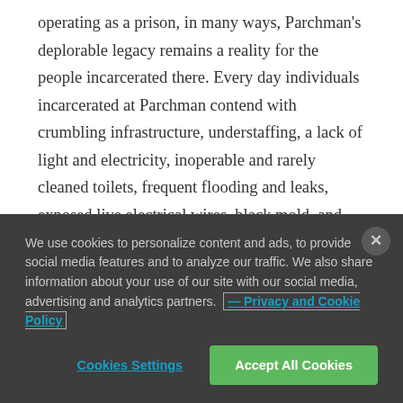operating as a prison, in many ways, Parchman's deplorable legacy remains a reality for the people incarcerated there. Every day individuals incarcerated at Parchman contend with crumbling infrastructure, understaffing, a lack of light and electricity, inoperable and rarely cleaned toilets, frequent flooding and leaks, exposed live electrical wires, black mold, and vermin infestations. Violence continues to be prevalent at Parchman, while
We use cookies to personalize content and ads, to provide social media features and to analyze our traffic. We also share information about your use of our site with our social media, advertising and analytics partners. — Privacy and Cookie Policy